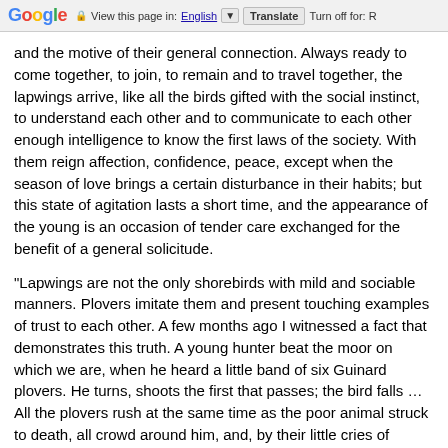Google  View this page in: English  Translate  Turn off for: R
and the motive of their general connection. Always ready to come together, to join, to remain and to travel together, the lapwings arrive, like all the birds gifted with the social instinct, to understand each other and to communicate to each other enough intelligence to know the first laws of the society. With them reign affection, confidence, peace, except when the season of love brings a certain disturbance in their habits; but this state of agitation lasts a short time, and the appearance of the young is an occasion of tender care exchanged for the benefit of a general solicitude.
“Lapwings are not the only shorebirds with mild and sociable manners. Plovers imitate them and present touching examples of trust to each other. A few months ago I witnessed a fact that demonstrates this truth. A young hunter beat the moor on which we are, when he heard a little band of six Guinard plovers. He turns, shoots the first that passes; the bird falls … All the plovers rush at the same time as the poor animal struck to death, all crowd around him, and, by their little cries of encouragement, seem to engage him to regain his strength and to go back with them in the air. — Alas! on his second stroke the hunter killed